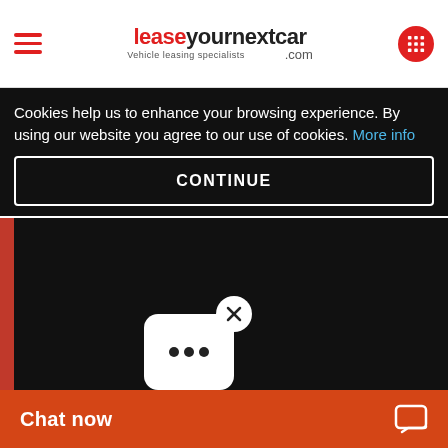leaseyournextcar.com — Vehicle leasing specialists
Cookies help us to enhance your browsing experience. By using our website you agree to our use of cookies. More info
CONTINUE
[Figure (screenshot): Chat widget with close (X) button and three-dot message bubble icon on dark background]
Chat now